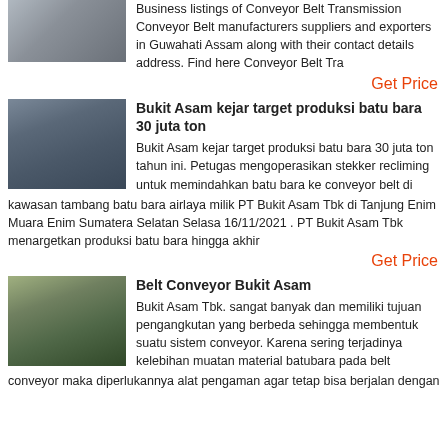Business listings of Conveyor Belt Transmission Conveyor Belt manufacturers suppliers and exporters in Guwahati Assam along with their contact details address. Find here Conveyor Belt Tra
Get Price
[Figure (photo): Industrial mining or crushing equipment machinery]
Bukit Asam kejar target produksi batu bara 30 juta ton
Bukit Asam kejar target produksi batu bara 30 juta ton tahun ini. Petugas mengoperasikan stekker recliming untuk memindahkan batu bara ke conveyor belt di kawasan tambang batu bara airlaya milik PT Bukit Asam Tbk di Tanjung Enim Muara Enim Sumatera Selatan Selasa 16/11/2021 . PT Bukit Asam Tbk menargetkan produksi batu bara hingga akhir
Get Price
[Figure (photo): Open pit mining facility with yellow equipment and structures]
Belt Conveyor Bukit Asam
Bukit Asam Tbk. sangat banyak dan memiliki tujuan pengangkutan yang berbeda sehingga membentuk suatu sistem conveyor. Karena sering terjadinya kelebihan muatan material batubara pada belt conveyor maka diperlukannya alat pengaman agar tetap bisa berjalan dengan